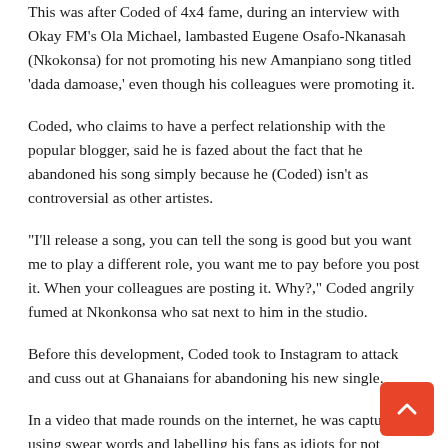This was after Coded of 4x4 fame, during an interview with Okay FM's Ola Michael, lambasted Eugene Osafo-Nkanasah (Nkokonsa) for not promoting his new Amanpiano song titled 'dada damoase,' even though his colleagues were promoting it.
Coded, who claims to have a perfect relationship with the popular blogger, said he is fazed about the fact that he abandoned his song simply because he (Coded) isn't as controversial as other artistes.
“I'll release a song, you can tell the song is good but you want me to play a different role, you want me to pay before you post it. When your colleagues are posting it. Why?,” Coded angrily fumed at Nkonkonsa who sat next to him in the studio.
Before this development, Coded took to Instagram to attack and cuss out at Ghanaians for abandoning his new single.
In a video that made rounds on the internet, he was captured using swear words and labelling his fans as idiots for not promoting his ‘dada damoase’ song.